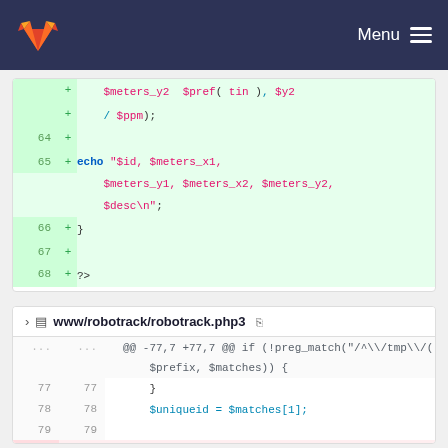Menu
[Figure (screenshot): GitLab code diff view showing PHP code additions with green highlighted lines (lines 64-68) including echo statement with $id, $meters_x1, $meters_y1, $meters_x2, $meters_y2, $desc\n and closing PHP tag]
www/robotrack/robotrack.php3
[Figure (screenshot): GitLab code diff view for robotrack.php3 showing context lines 77-79 and deletion at line 80: $perl_args = "-o $prefix -t -z -n -x -y -f $floor $building"; and addition at line 80 (partial)]